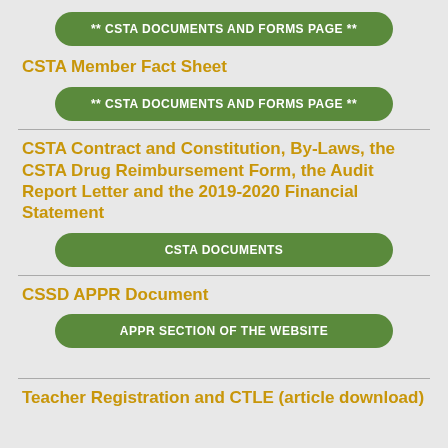** CSTA DOCUMENTS AND FORMS PAGE **
CSTA Member Fact Sheet
** CSTA DOCUMENTS AND FORMS PAGE **
CSTA Contract and Constitution, By-Laws, the CSTA Drug Reimbursement Form, the Audit Report Letter and the 2019-2020 Financial Statement
CSTA DOCUMENTS
CSSD APPR Document
APPR SECTION OF THE WEBSITE
Teacher Registration and CTLE (article download)